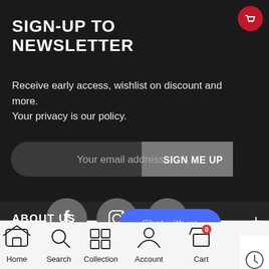SIGN-UP TO NEWSLETTER
Receive early access, wishlist on discount and more. Your privacy is our policy.
[Figure (screenshot): Email input field with placeholder 'Your email address...' and a 'SIGN ME UP' button on the right, all in a rounded pill-shaped container]
[Figure (infographic): Three social media circular buttons: Facebook (f), Instagram (camera), YouTube (play button)]
ABOUT US
[Figure (infographic): Bottom navigation bar with Home, Search, Collection, Account, Cart icons. A blue 'Chat with us' bubble floats above. A red cart icon is at the top right. A white side panel with history, share, and up-arrow icons.]